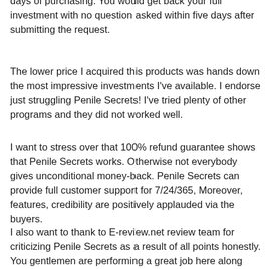days of purchasing. You would get back your full investment with no question asked within five days after submitting the request.
The lower price I acquired this products was hands down the most impressive investments I've available. I endorse just struggling Penile Secrets! I've tried plenty of other programs and they did not worked well.
I want to stress over that 100% refund guarantee shows that Penile Secrets works. Otherwise not everybody gives unconditional money-back. Penile Secrets can provide full customer support for 7/24/365, Moreover, features, credibility are positively applauded via the buyers.
I also want to thank to E-review.net review team for criticizing Penile Secrets as a result of all points honestly. You gentlemen are performing a great job here along with